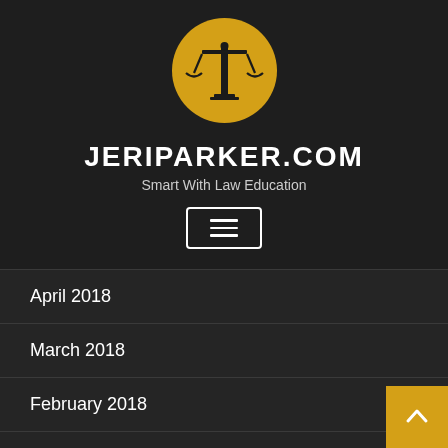[Figure (logo): Gold circle with scales of justice icon — balance/law scales in black on yellow/gold background]
JERIPARKER.COM
Smart With Law Education
[Figure (other): Hamburger menu button with three horizontal white lines inside a white-bordered rectangle]
April 2018
March 2018
February 2018
January 2018
December 2017